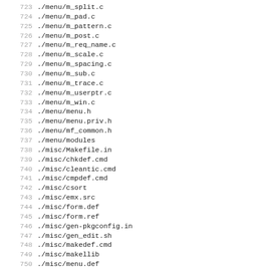723 ./menu/m_split.c
724 ./menu/m_pad.c
725 ./menu/m_pattern.c
726 ./menu/m_post.c
727 ./menu/m_req_name.c
728 ./menu/m_scale.c
729 ./menu/m_spacing.c
730 ./menu/m_sub.c
731 ./menu/m_trace.c
732 ./menu/m_userptr.c
733 ./menu/m_win.c
734 ./menu/menu.h
735 ./menu/menu.priv.h
736 ./menu/mf_common.h
737 ./menu/modules
738 ./misc/Makefile.in
739 ./misc/chkdef.cmd
740 ./misc/cleantic.cmd
741 ./misc/cmpdef.cmd
742 ./misc/csort
743 ./misc/emx.src
744 ./misc/form.def
745 ./misc/form.ref
746 ./misc/gen-pkgconfig.in
747 ./misc/gen_edit.sh
748 ./misc/makedef.cmd
749 ./misc/makellib
750 ./misc/menu.def
751 ./misc/menu.ref
752 ./misc/ncurses-config.in
753 ./misc/ncurses.def
754 ./misc/ncurses.ref
755 ./misc/ncurses.supp